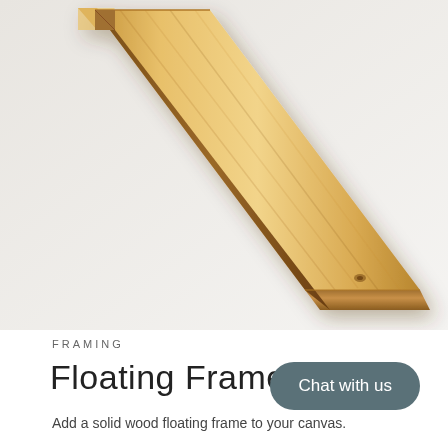[Figure (photo): A diagonal wooden floating frame corner piece photographed against a white/light grey background. The frame is a warm blonde/golden wood tone, showing two sides of the frame's L-shaped corner angled from upper-left to lower-right.]
FRAMING
Floating Frames
Chat with us
Add a solid wood floating frame to your canvas.